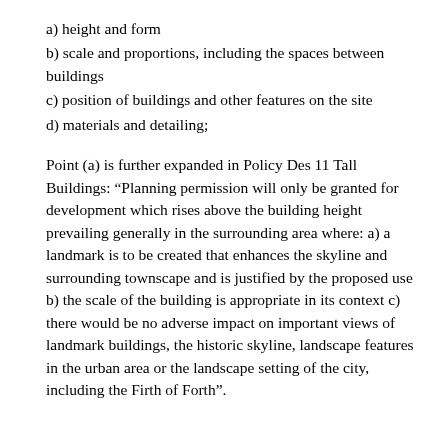a) height and form
b) scale and proportions, including the spaces between buildings
c) position of buildings and other features on the site
d) materials and detailing;
Point (a) is further expanded in Policy Des 11 Tall Buildings: “Planning permission will only be granted for development which rises above the building height prevailing generally in the surrounding area where: a) a landmark is to be created that enhances the skyline and surrounding townscape and is justified by the proposed use b) the scale of the building is appropriate in its context c) there would be no adverse impact on important views of landmark buildings, the historic skyline, landscape features in the urban area or the landscape setting of the city, including the Firth of Forth”.